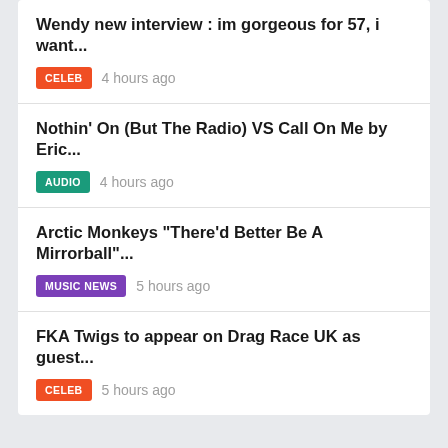Wendy new interview : im gorgeous for 57, i want... | CELEB | 4 hours ago
Nothin' On (But The Radio) VS Call On Me by Eric... | AUDIO | 4 hours ago
Arctic Monkeys "There'd Better Be A Mirrorball"... | MUSIC NEWS | 5 hours ago
FKA Twigs to appear on Drag Race UK as guest... | CELEB | 5 hours ago